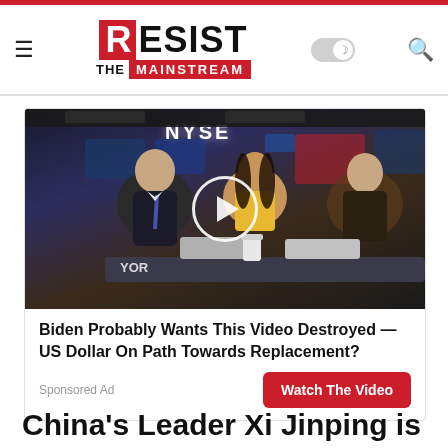Resist The Mainstream — navigation header with logo, dark mode toggle, and search icon
[Figure (screenshot): Advertisement video thumbnail showing people at NYSE trading floor desk with play button overlay. Headline: Biden Probably Wants This Video Destroyed — US Dollar On Path Towards Replacement? with Watch The Video button.]
Sponsored Ad
China's Leader Xi Jinping is